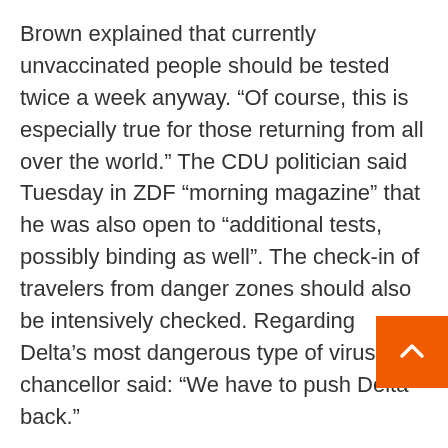Brown explained that currently unvaccinated people should be tested twice a week anyway. “Of course, this is especially true for those returning from all over the world.” The CDU politician said Tuesday in ZDF “morning magazine” that he was also open to “additional tests, possibly binding as well”. The check-in of travelers from danger zones should also be intensively checked. Regarding Delta’s most dangerous type of virus, the chancellor said: “We have to push Delta back.”
The federal and state governments were unable to agree on stricter rules for entering or returning to Germany on Monday, although several prime ministers requested it.
Submit a negative result